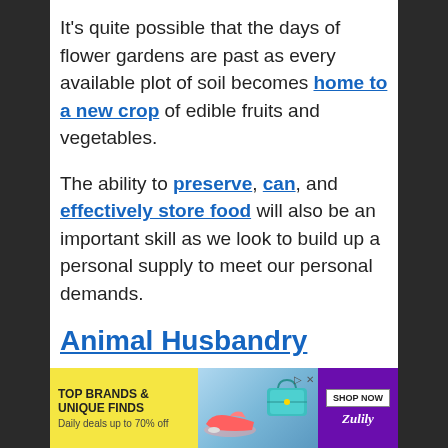It's quite possible that the days of flower gardens are past as every available plot of soil becomes home to a new crop of edible fruits and vegetables.
The ability to preserve, can, and effectively store food will also be an important skill as we look to build up a personal supply to meet our personal demands.
Animal Husbandry
Chickens are the go-to choice for many. The produce not only meat but eggs and the
[Figure (other): Advertisement banner: TOP BRANDS & UNIQUE FINDS, Daily deals up to 70% off, with shoe and bag images, SHOP NOW button, and Zulily branding on purple background]